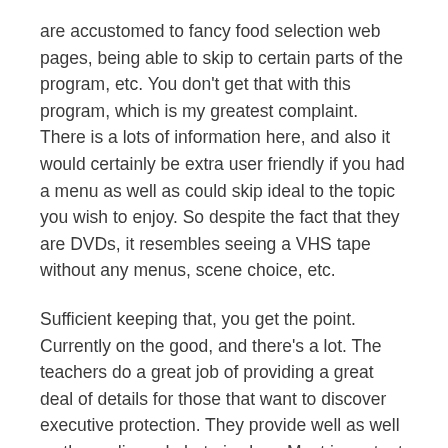are accustomed to fancy food selection web pages, being able to skip to certain parts of the program, etc. You don't get that with this program, which is my greatest complaint. There is a lots of information here, and also it would certainly be extra user friendly if you had a menu as well as could skip ideal to the topic you wish to enjoy. So despite the fact that they are DVDs, it resembles seeing a VHS tape without any menus, scene choice, etc.
Sufficient keeping that, you get the point. Currently on the good, and there's a lot. The teachers do a great job of providing a great deal of details for those that want to discover executive protection. They provide well as well as the audio and photo is clear. Most important, apart from some equipment that might be obsoleted, the info they offer is sound and also beneficial. I'll currently undergo the 3 volumes individually with what they have.